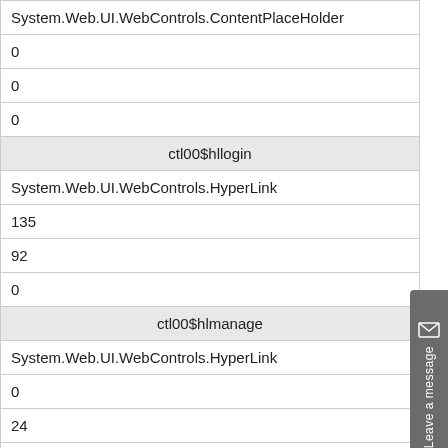| System.Web.UI.WebControls.ContentPlaceHolder |
| 0 |
| 0 |
| 0 |
| ctl00$hllogin |
| System.Web.UI.WebControls.HyperLink |
| 135 |
| 92 |
| 0 |
| ctl00$hlmanage |
| System.Web.UI.WebControls.HyperLink |
| 0 |
| 24 |
| 0 |
| ctl00$litbar |